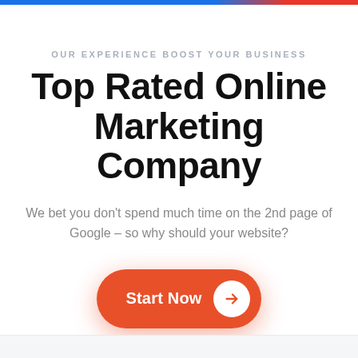OUR EXPERIENCE BOOST YOUR BUSINESS
Top Rated Online Marketing Company
We bet you don’t spend much time on the 2nd page of Google – so why should your website?
[Figure (other): Orange rounded button with text 'Start Now' and white circle arrow icon on right]